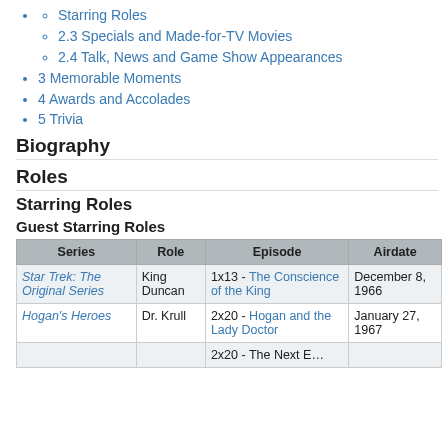Starring Roles
2.3 Specials and Made-for-TV Movies
2.4 Talk, News and Game Show Appearances
3 Memorable Moments
4 Awards and Accolades
5 Trivia
Biography
Roles
Starring Roles
Guest Starring Roles
| Series | Role | Episode | Airdate |
| --- | --- | --- | --- |
| Star Trek: The Original Series | King Duncan | 1x13 - The Conscience of the King | December 8, 1966 |
| Hogan's Heroes | Dr. Krull | 2x20 - Hogan and the Lady Doctor | January 27, 1967 |
|  |  | 2x20 - The Next E... |  |